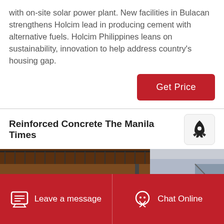with on-site solar power plant. New facilities in Bulacan strengthens Holcim lead in producing cement with alternative fuels. Holcim Philippines leans on sustainability, innovation to help address country's housing gap.
[Figure (other): Red 'Get Price' button]
Reinforced Concrete The Manila Times
[Figure (photo): Industrial cement plant machinery, showing rusty metal structures, conveyor belts, and large wheel machinery in an outdoor industrial setting.]
Leave a message   Chat Online